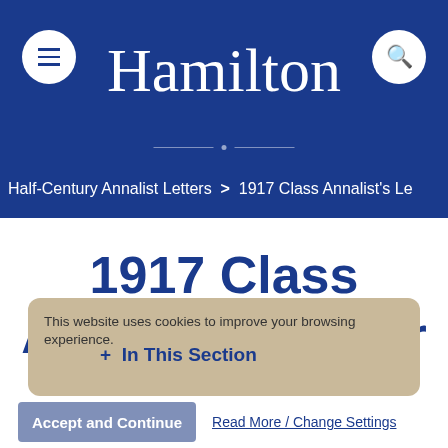Hamilton
Half-Century Annalist Letters > 1917 Class Annalist's Le
1917 Class Annalist's Letter
This website uses cookies to improve your browsing experience.
+ In This Section
Accept and Continue
Read More / Change Settings